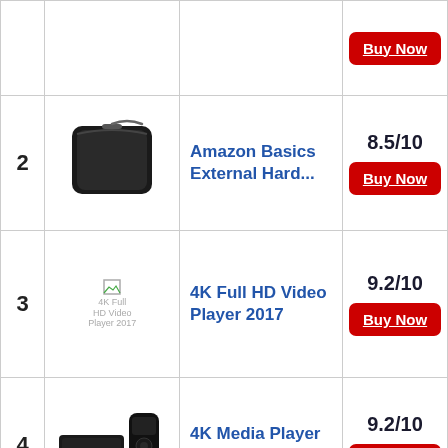| # | Image | Product | Score/Action |
| --- | --- | --- | --- |
|  |  |  | Buy Now |
| 2 | Amazon Basics External Hard Drive Case image | Amazon Basics External Hard... | 8.5/10 | Buy Now |
| 3 | 4K Full HD Video Player 2017 image | 4K Full HD Video Player 2017 | 9.2/10 | Buy Now |
| 4 | 4K Media Player with Remote image | 4K Media Player with Remote... | 9.2/10 | Buy Now |
|  |  |  |  |